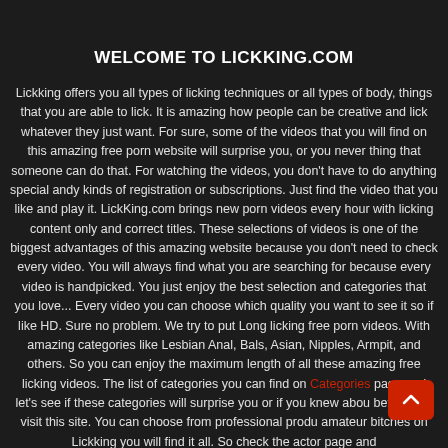WELCOME TO LICKKING.COM
Lickking offers you all types of licking techniques or all types of body, things that you are able to lick. It is amazing how people can be creative and lick whatever they just want. For sure, some of the videos that you will find on this amazing free porn website will surprise you, or you never thing that someone can do that. For watching the videos, you don't have to do anything special andy kinds of registration or subscriptions. Just find the video that you like and play it. LickKing.com brings new porn videos every hour with licking content only and correct titles. These selections of videos is one of the biggest advantages of this amazing website because you don't need to check every video. You will always find what you are searching for because every video is handpicked. You just enjoy the best selection and categories that you love... Every video you can choose which quality you want to see it so if like HD. Sure no problem. We try to put Long licking free porn videos. With amazing categories like Lesbian Anal, Bals, Asian, Nipples, Armpit, and others. So you can enjoy the maximum length of all these amazing free licking videos. The list of categories you can find on Categories page and let's see if these categories will surprise you or if you knew about before you visit this site. You can choose from professional production or amateur bitches on Lickking you will find it all. So check the actor page and